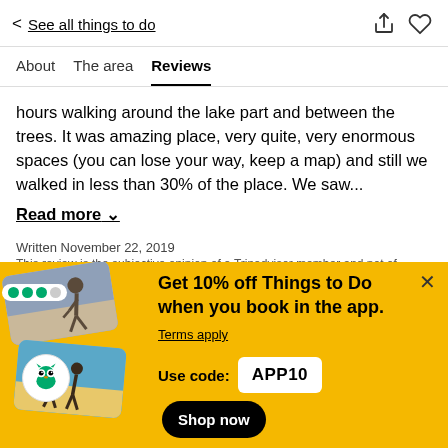< See all things to do
About   The area   Reviews
hours walking around the lake part and between the trees. It was amazing place, very quite, very enormous spaces (you can lose your way, keep a map) and still we walked in less than 30% of the place. We saw...
Read more ∨
Written November 22, 2019
This review is the subjective opinion of a Tripadvisor member and not of
[Figure (screenshot): Promotional banner with yellow background showing stacked travel photo cards, Tripadvisor owl badge, and green rating dots]
Get 10% off Things to Do when you book in the app.
Terms apply
Use code: APP10
Shop now